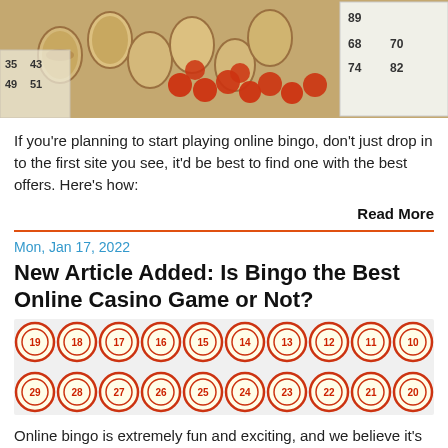[Figure (photo): Bingo tokens/barrels spilled on a table with red chips and a bingo card showing numbers 35, 43, 49, 51, 68, 70, 74, 82, 89]
If you're planning to start playing online bingo, don't just drop in to the first site you see, it'd be best to find one with the best offers. Here's how:
Read More
Mon, Jan 17, 2022
New Article Added: Is Bingo the Best Online Casino Game or Not?
[Figure (photo): Two rows of circular bingo tokens numbered 10-19 on top row and 20-29 on bottom row, with red borders on cream background]
Online bingo is extremely fun and exciting, and we believe it's the best online casino game.
Read More